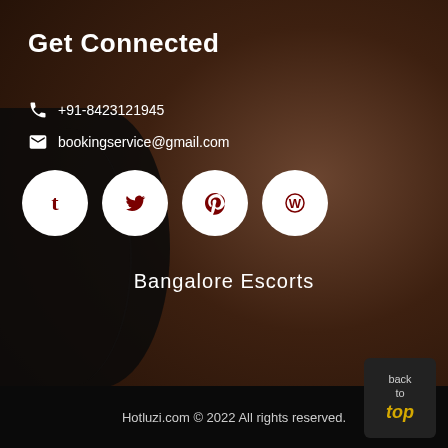Get Connected
+91-8423121945
bookingservice@gmail.com
[Figure (illustration): Four social media icons (Tumblr, Twitter, Pinterest, WordPress) as white circles with dark red logos]
Bangalore Escorts
Hotluzi.com © 2022 All rights reserved.
back to top